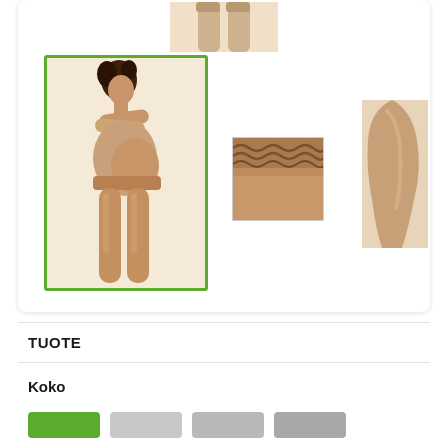[Figure (photo): Product photo gallery showing maternity compression tights. Top: cropped view of tights legs. Left: main selected image of pregnant woman wearing beige tights (green border). Center: close-up of lace top band. Right: partial side silhouette view.]
TUOTE
Koko
[Figure (other): Four size selector buttons in a row: first button green (selected), three buttons gray (unselected)]